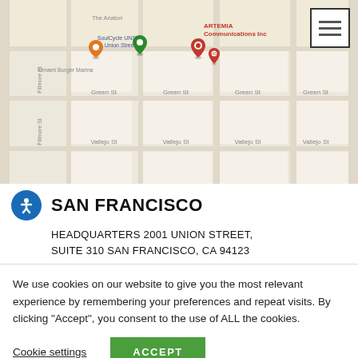[Figure (map): Google Maps screenshot showing San Francisco neighborhood near 2001 Union Street with ARTEMIA Communications Inc marker, SoulCycle UNST - Union Street, Umami Burger Marina, and street grid including Green St, Vallejo St, Fillmore St.]
SAN FRANCISCO
HEADQUARTERS 2001 UNION STREET, SUITE 310 SAN FRANCISCO, CA 94123
We use cookies on our website to give you the most relevant experience by remembering your preferences and repeat visits. By clicking "Accept", you consent to the use of ALL the cookies.
Cookie settings  ACCEPT